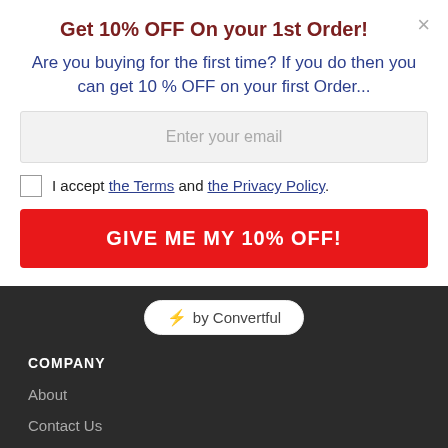Get 10% OFF On your 1st Order!
Are you buying for the first time? If you do then you can get 10 % OFF on your first Order...
Enter your email
I accept the Terms and the Privacy Policy.
GIVE ME MY 10% OFF!
⚡ by Convertful
COMPANY
About
Contact Us
Bulk Order Inquiry
Shipping Policy
Return Policy
[Figure (logo): TrustedSite Certified Secure badge with green checkmark]